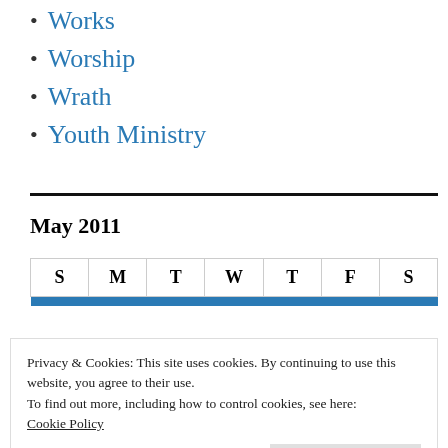Works
Worship
Wrath
Youth Ministry
May 2011
| S | M | T | W | T | F | S |
| --- | --- | --- | --- | --- | --- | --- |
| 22 | 23 | 24 | 25 | 26 | 27 | 28 |
Privacy & Cookies: This site uses cookies. By continuing to use this website, you agree to their use.
To find out more, including how to control cookies, see here:
Cookie Policy
Close and accept